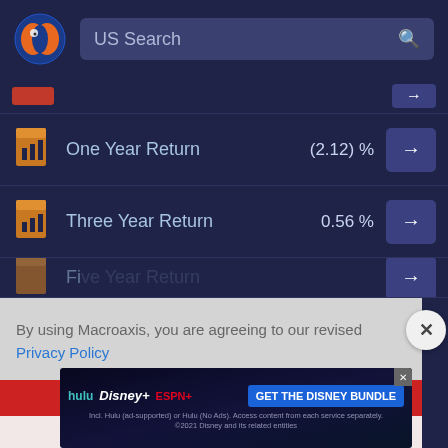[Figure (screenshot): Macroaxis website header with logo and US Search bar]
| Metric | Value | Action |
| --- | --- | --- |
| One Year Return | (2.12) % | → |
| Three Year Return | 0.56 % | → |
By using Macroaxis, you are agreeing to our revised Privacy Policy
[Figure (screenshot): Disney Bundle advertisement banner: hulu, Disney+, ESPN+ - GET THE DISNEY BUNDLE. Incl. Hulu (ad-supported) or Hulu (No Ads). Access content from each service separately. ©2021 Disney and its related entities]